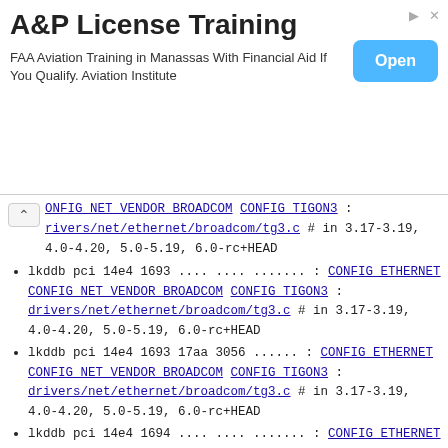[Figure (other): Advertisement banner for A&P License Training. Title: 'A&P License Training'. Subtitle: 'FAA Aviation Training in Manassas With Financial Aid If You Qualify. Aviation Institute'. Blue 'Open' button on the right.]
CONFIG NET VENDOR BROADCOM CONFIG TIGON3 : rivers/net/ethernet/broadcom/tg3.c # in 3.17-3.19, 4.0-4.20, 5.0-5.19, 6.0-rc+HEAD (partial, top of visible area)
lkddb pci 14e4 1693 .... .... ....... : CONFIG ETHERNET CONFIG NET VENDOR BROADCOM CONFIG TIGON3 : drivers/net/ethernet/broadcom/tg3.c # in 3.17-3.19, 4.0-4.20, 5.0-5.19, 6.0-rc+HEAD
lkddb pci 14e4 1693 17aa 3056 ...... : CONFIG ETHERNET CONFIG NET VENDOR BROADCOM CONFIG TIGON3 : drivers/net/ethernet/broadcom/tg3.c # in 3.17-3.19, 4.0-4.20, 5.0-5.19, 6.0-rc+HEAD
lkddb pci 14e4 1694 .... .... ....... : CONFIG ETHERNET CONFIG NET VENDOR BROADCOM CONFIG TIGON3 : drivers/net/ethernet/broadcom/tg3.c # in 3.17-3.19, 4.0-4.20, 5.0-5.19, 6.0-rc+HEAD
lkddb pci 14e4 1696 .... .... ....... : CONFIG ETHERNET CONFIG NET VENDOR BROADCOM CONFIG TIGON3 : drivers/net/ethernet/broadcom/tg3.c # in 3.17-3.19, 4.0-4.20, 5.0-5.19, 6.0-rc+HEAD
lkddb pci 14e4 1698 .... .... ....... : CONFIG ETHERNET CONFIG NET VENDOR BROADCOM CONFIG TIGON3 : drivers/net/ethernet/broadcom/tg3.c # in 3.17-3.19, 4.0-4.20, 5.0-5.19, 6.0-rc+HEAD
lkddb pci 14e4 1699 .... .... ....... : CONFIG ETHERNET CONFIG NET VENDOR BROADCOM CONFIG TIGON3 : (partial, cut off at bottom)